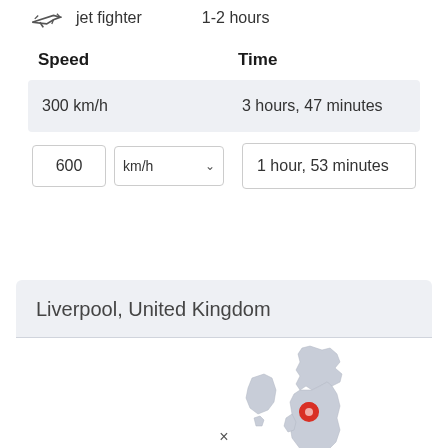jet fighter   1-2 hours
| Speed | Time |
| --- | --- |
| 300 km/h | 3 hours, 47 minutes |
| 600 km/h | 1 hour, 53 minutes |
Liverpool, United Kingdom
Local time:
[Figure (map): Map showing United Kingdom with a red location pin marker near Liverpool]
×